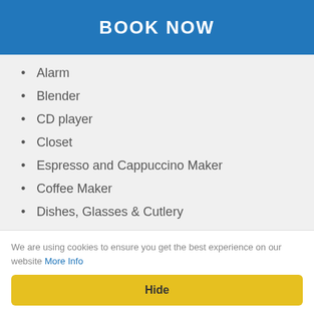BOOK NOW
Alarm
Blender
CD player
Closet
Espresso and Cappuccino Maker
Coffee Maker
Dishes, Glasses & Cutlery
Dishwasher
Dryer
We are using cookies to ensure you get the best experience on our website More Info
Hide